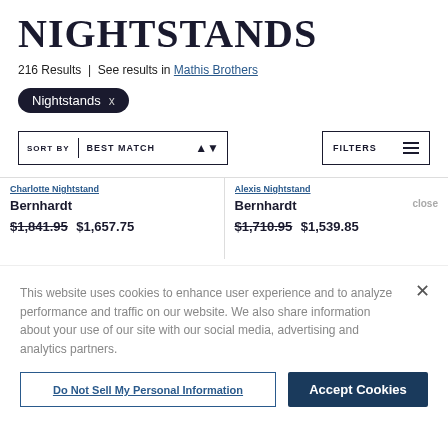NIGHTSTANDS
216 Results | See results in Mathis Brothers
Nightstands x
SORT BY | BEST MATCH
FILTERS
Charlotte Nightstand
Bernhardt
$1,841.95 $1,657.75
Alexis Nightstand
Bernhardt
close
$1,710.95 $1,539.85
This website uses cookies to enhance user experience and to analyze performance and traffic on our website. We also share information about your use of our site with our social media, advertising and analytics partners.
Do Not Sell My Personal Information
Accept Cookies